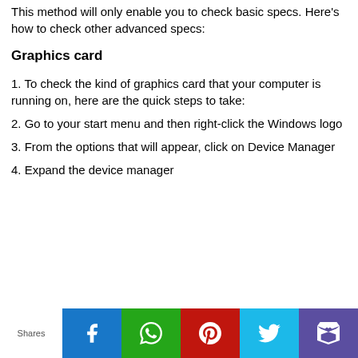This method will only enable you to check basic specs. Here's how to check other advanced specs:
Graphics card
1. To check the kind of graphics card that your computer is running on, here are the quick steps to take:
2. Go to your start menu and then right-click the Windows logo
3. From the options that will appear, click on Device Manager
4. Expand the device manager
Shares [Facebook] [WhatsApp] [Pinterest] [Twitter] [Mix]